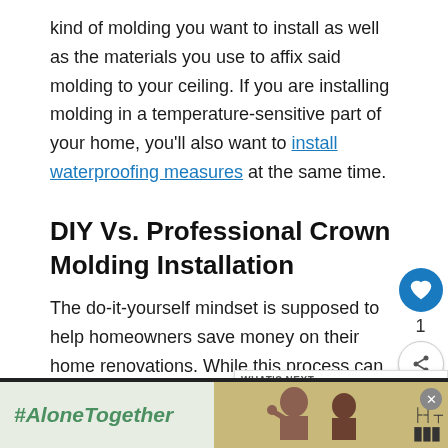kind of molding you want to install as well as the materials you use to affix said molding to your ceiling. If you are installing molding in a temperature-sensitive part of your home, you'll also want to install waterproofing measures at the same time.
DIY Vs. Professional Crown Molding Installation
The do-it-yourself mindset is supposed to help homeowners save money on their home renovations. While this process can be budget-friendly under the right conditions, it's not always your best option. This is especially the case when it
[Figure (other): Social sidebar with heart/like button showing count 1 and share button]
[Figure (other): WHAT'S NEXT widget showing thumbnail image and text 'Is Crown Molding Har...']
[Figure (other): Ad banner with #AloneTogether text, photo of people, close button X, and Turner logo]